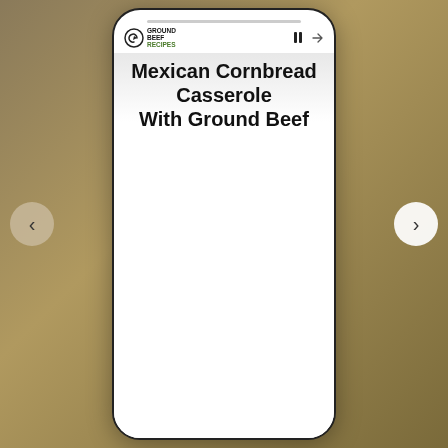[Figure (logo): Ground Beef Recipes logo with circular arrow icon and text]
Mexican Cornbread Casserole With Ground Beef